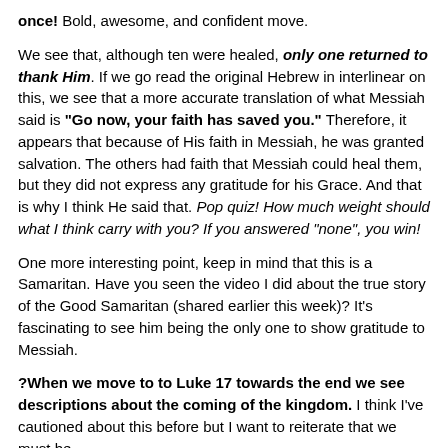once! Bold, awesome, and confident move.
We see that, although ten were healed, only one returned to thank Him. If we go read the original Hebrew in interlinear on this, we see that a more accurate translation of what Messiah said is "Go now, your faith has saved you." Therefore, it appears that because of His faith in Messiah, he was granted salvation. The others had faith that Messiah could heal them, but they did not express any gratitude for his Grace. And that is why I think He said that. Pop quiz! How much weight should what I think carry with you? If you answered "none", you win!
One more interesting point, keep in mind that this is a Samaritan. Have you seen the video I did about the true story of the Good Samaritan (shared earlier this week)? It's fascinating to see him being the only one to show gratitude to Messiah.
?When we move to to Luke 17 towards the end we see descriptions about the coming of the kingdom. I think I've cautioned about this before but I want to reiterate that we must be